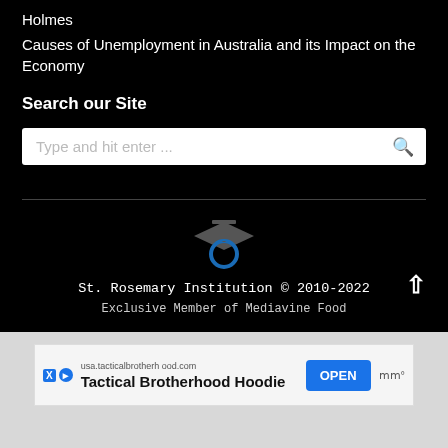Holmes
Causes of Unemployment in Australia and its Impact on the Economy
Search our Site
[Figure (screenshot): Search input box with placeholder 'Type and hit enter ...' and a magnifying glass icon on the right]
[Figure (logo): St. Rosemary Institution graduation cap logo in blue and gray]
St. Rosemary Institution © 2010-2022
Exclusive Member of Mediavine Food
[Figure (screenshot): Advertisement banner: usa.tacticalbrotherhood.com - Tactical Brotherhood Hoodies with OPEN button]